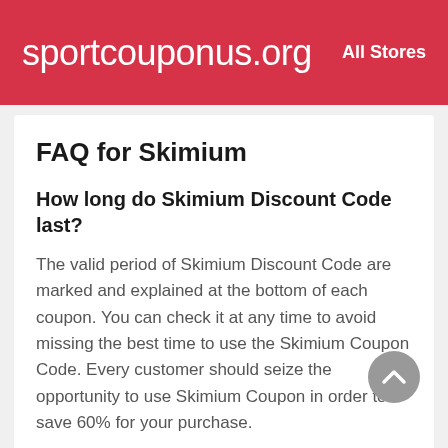sportcouponus.org   All Stores
FAQ for Skimium
How long do Skimium Discount Code last?
The valid period of Skimium Discount Code are marked and explained at the bottom of each coupon. You can check it at any time to avoid missing the best time to use the Skimium Coupon Code. Every customer should seize the opportunity to use Skimium Coupon in order to save 60% for your purchase.